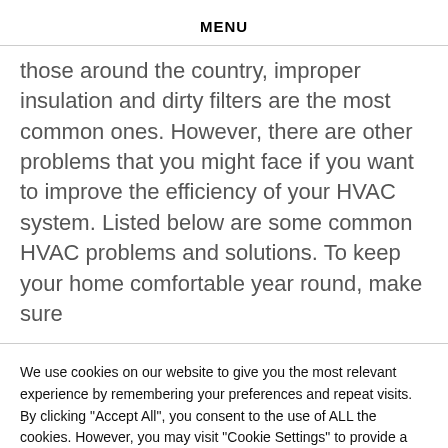MENU
those around the country, improper insulation and dirty filters are the most common ones. However, there are other problems that you might face if you want to improve the efficiency of your HVAC system. Listed below are some common HVAC problems and solutions. To keep your home comfortable year round, make sure
We use cookies on our website to give you the most relevant experience by remembering your preferences and repeat visits. By clicking "Accept All", you consent to the use of ALL the cookies. However, you may visit "Cookie Settings" to provide a controlled consent.